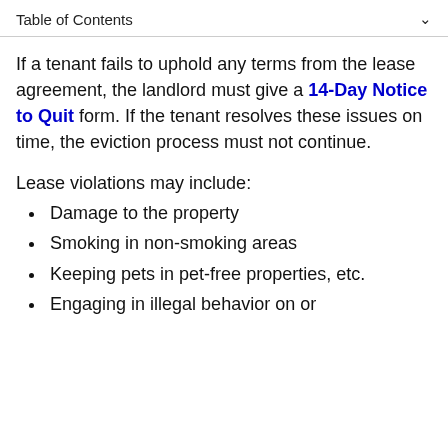Table of Contents
If a tenant fails to uphold any terms from the lease agreement, the landlord must give a 14-Day Notice to Quit form. If the tenant resolves these issues on time, the eviction process must not continue.
Lease violations may include:
Damage to the property
Smoking in non-smoking areas
Keeping pets in pet-free properties, etc.
Engaging in illegal behavior on or